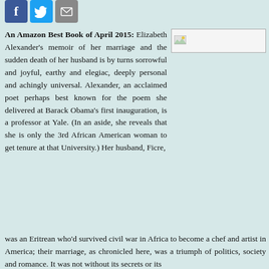[Figure (other): Social media icons: Facebook (blue), Twitter (blue bird), Email (gray envelope)]
[Figure (other): Book cover image placeholder (broken image icon shown)]
An Amazon Best Book of April 2015: Elizabeth Alexander's memoir of her marriage and the sudden death of her husband is by turns sorrowful and joyful, earthy and elegiac, deeply personal and achingly universal. Alexander, an acclaimed poet perhaps best known for the poem she delivered at Barack Obama's first inauguration, is a professor at Yale. (In an aside, she reveals that she is only the 3rd African American woman to get tenure at that University.) Her husband, Ficre, was an Eritrean who'd survived civil war in Africa to become a chef and artist in America; their marriage, as chronicled here, was a triumph of politics, society and romance. It was not without its secrets or its